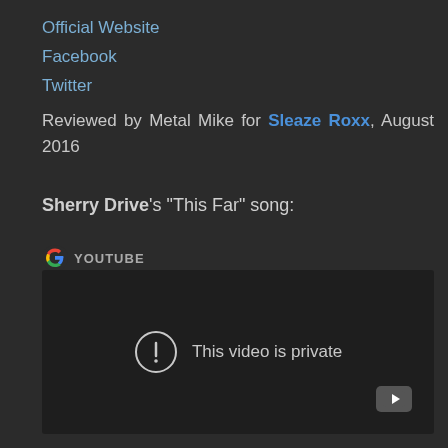Official Website
Facebook
Twitter
Reviewed by Metal Mike for Sleaze Roxx, August 2016
Sherry Drive's “This Far” song:
[Figure (screenshot): YouTube embed widget showing 'This video is private' message with Google/YouTube branding header and YouTube logo in bottom right corner]